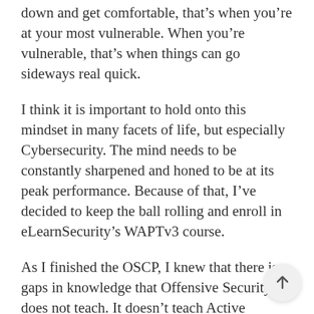down and get comfortable, that's when you're at your most vulnerable. When you're vulnerable, that's when things can go sideways real quick.
I think it is important to hold onto this mindset in many facets of life, but especially Cybersecurity. The mind needs to be constantly sharpened and honed to be at its peak performance. Because of that, I've decided to keep the ball rolling and enroll in eLearnSecurity's WAPTv3 course.
As I finished the OSCP, I knew that there is gaps in knowledge that Offensive Security does not teach. It doesn't teach Active Directory testing, and the Web App testing is nothing to write home about. I know fully well that I need to work on these important skills. Because of that, I created a few